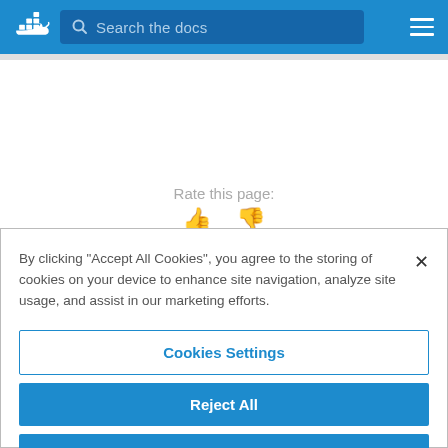Docker logo | Search the docs | hamburger menu
Rate this page: 👍 👎
By clicking "Accept All Cookies", you agree to the storing of cookies on your device to enhance site navigation, analyze site usage, and assist in our marketing efforts.
Cookies Settings
Reject All
Accept All Cookies